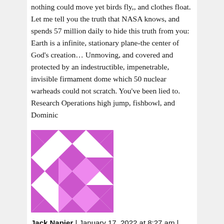nothing could move yet birds fly,, and clothes float. Let me tell you the truth that NASA knows, and spends 57 million daily to hide this truth from you: Earth is a infinite, stationary plane-the center of God's creation... Unmoving, and covered and protected by an indestructible, impenetrable, invisible firmament dome which 50 nuclear warheads could not scratch. You've been lied to. Research Operations high jump, fishbowl, and Dominic
[Figure (illustration): A pink/magenta geometric avatar composed of triangles and diamond shapes arranged in a 3x3 grid pattern]
Jack Napier | January 17, 2022 at 8:27 am | Reply